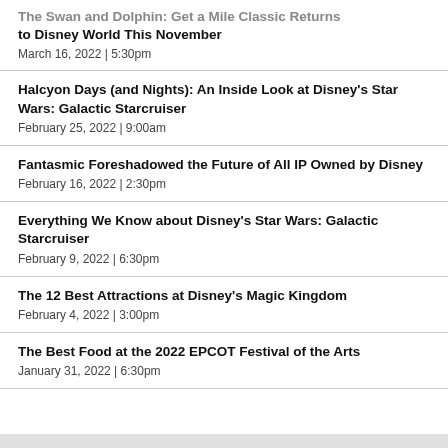The Swan and Dolphin: Get a Mile Classic Returns to Disney World This November
March 16, 2022  |  5:30pm
Halcyon Days (and Nights): An Inside Look at Disney's Star Wars: Galactic Starcruiser
February 25, 2022  |  9:00am
Fantasmic Foreshadowed the Future of All IP Owned by Disney
February 16, 2022  |  2:30pm
Everything We Know about Disney's Star Wars: Galactic Starcruiser
February 9, 2022  |  6:30pm
The 12 Best Attractions at Disney's Magic Kingdom
February 4, 2022  |  3:00pm
The Best Food at the 2022 EPCOT Festival of the Arts
January 31, 2022  |  6:30pm